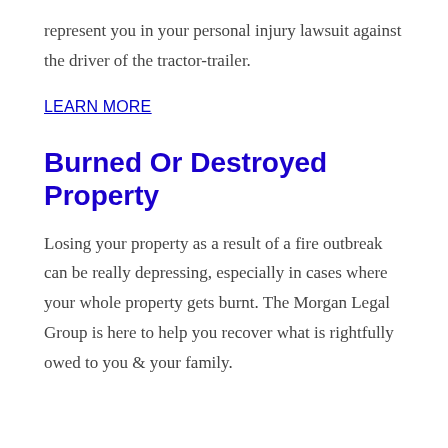represent you in your personal injury lawsuit against the driver of the tractor-trailer.
LEARN MORE
Burned Or Destroyed Property
Losing your property as a result of a fire outbreak can be really depressing, especially in cases where your whole property gets burnt. The Morgan Legal Group is here to help you recover what is rightfully owed to you & your family.